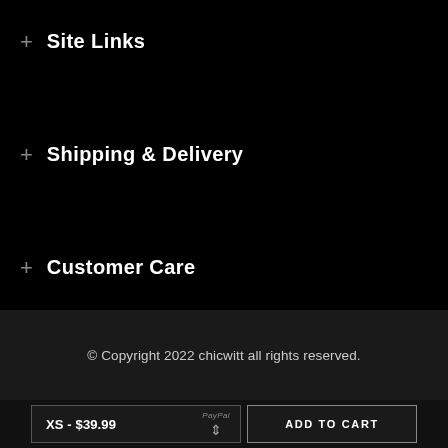+ Site Links
+ Shipping & Delivery
+ Customer Care
© Copyright 2022 chicwitt all rights reserved.
XS - $39.99  PayPal  ADD TO CART